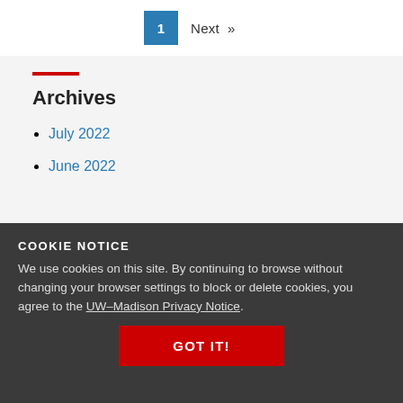1  Next »
Archives
July 2022
June 2022
January 2022
October 2021
COOKIE NOTICE
We use cookies on this site. By continuing to browse without changing your browser settings to block or delete cookies, you agree to the UW–Madison Privacy Notice.
GOT IT!